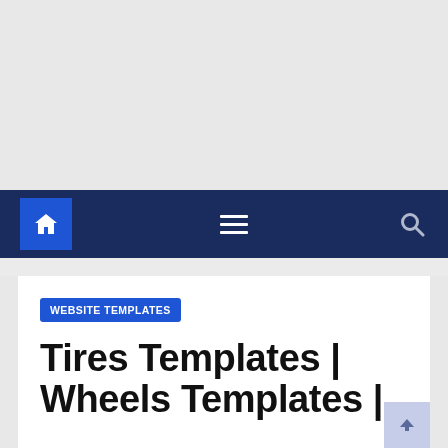[Figure (screenshot): Top gray advertisement/empty area of a website]
Navigation bar with home icon, hamburger menu, and search icon
WEBSITE TEMPLATES
Tires Templates | Wheels Templates |